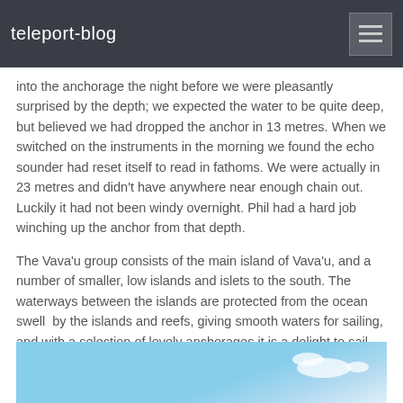teleport-blog
into the anchorage the night before we were pleasantly surprised by the depth; we expected the water to be quite deep, but believed we had dropped the anchor in 13 metres. When we switched on the instruments in the morning we found the echo sounder had reset itself to read in fathoms. We were actually in 23 metres and didn't have anywhere near enough chain out. Luckily it had not been windy overnight. Phil had a hard job winching up the anchor from that depth.
The Vava'u group consists of the main island of Vava'u, and a number of smaller, low islands and islets to the south. The waterways between the islands are protected from the ocean swell  by the islands and reefs, giving smooth waters for sailing, and with a selection of lovely anchorages it is a delight to sail here.
[Figure (photo): Blue sky with white clouds, partial view at the bottom of the page]